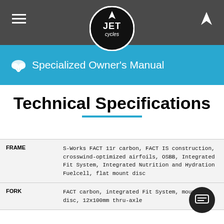JET Cycles — Specialized Owner's Manual
Technical Specifications
| Component | Description |
| --- | --- |
| FRAME | S-Works FACT 11r carbon, FACT IS construction, crosswind-optimized airfoils, OSBB, Integrated Fit System, Integrated Nutrition and Hydration Fuelcell, flat mount disc |
| FORK | FACT carbon, integrated Fit System, mount disc, 12x100mm thru-axle |